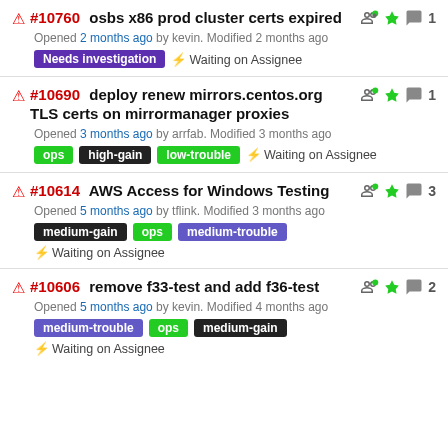#10760 osbs x86 prod cluster certs expired — Opened 2 months ago by kevin. Modified 2 months ago — Needs investigation — ⚡ Waiting on Assignee
#10690 deploy renew mirrors.centos.org TLS certs on mirrormanager proxies — Opened 3 months ago by arrfab. Modified 3 months ago — ops high-gain low-trouble — ⚡ Waiting on Assignee
#10614 AWS Access for Windows Testing — Opened 5 months ago by tflink. Modified 3 months ago — medium-gain ops medium-trouble — ⚡ Waiting on Assignee
#10606 remove f33-test and add f36-test — Opened 5 months ago by kevin. Modified 4 months ago — medium-trouble ops medium-gain — ⚡ Waiting on Assignee